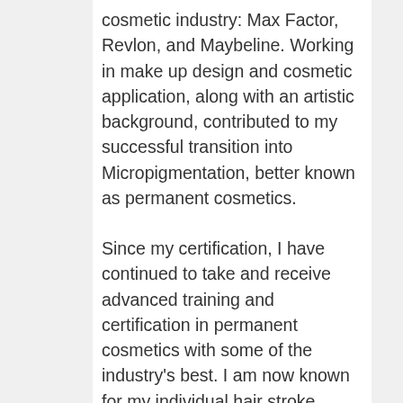cosmetic industry: Max Factor, Revlon, and Maybeline. Working in make up design and cosmetic application, along with an artistic background, contributed to my successful transition into Micropigmentation, better known as permanent cosmetics.
Since my certification, I have continued to take and receive advanced training and certification in permanent cosmetics with some of the industry's best. I am now known for my individual hair stroke eyebrows. I have received accolades from respected local plastic surgeons, cosmetologists, and skin care professionals. In October of 2007, I